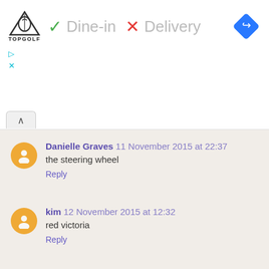[Figure (screenshot): Ad banner: Topgolf logo, green checkmark 'Dine-in', red X 'Delivery', blue diamond navigation icon]
Danielle Graves 11 November 2015 at 22:37
the steering wheel
Reply
kim 12 November 2015 at 12:32
red victoria
Reply
Unknown 12 November 2015 at 13:57
The Ship's Wheel. x
Reply